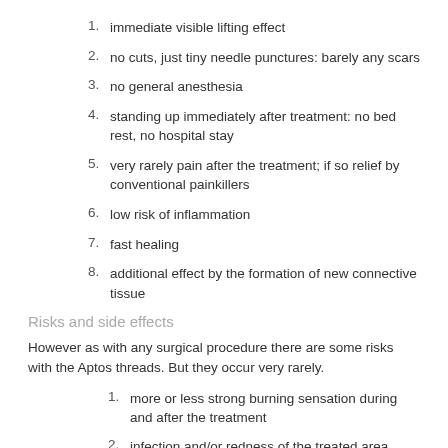1. immediate visible lifting effect
2. no cuts, just tiny needle punctures: barely any scars
3. no general anesthesia
4. standing up immediately after treatment: no bed rest, no hospital stay
5. very rarely pain after the treatment; if so relief by conventional painkillers
6. low risk of inflammation
7. fast healing
8. additional effect by the formation of new connective tissue
Risks and side effects
However as with any surgical procedure there are some risks with the Aptos threads. But they occur very rarely.
1. more or less strong burning sensation during and after the treatment
2. infection and/or redness of the treated area